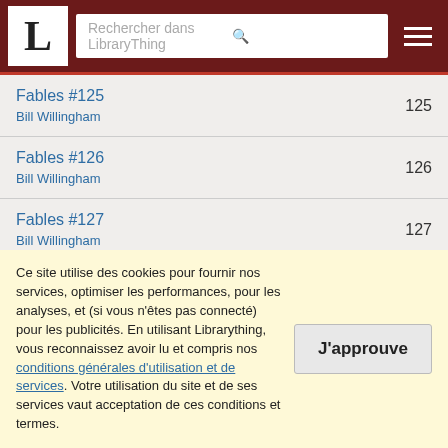Rechercher dans LibraryThing
Fables #125
Bill Willingham
125
Fables #126
Bill Willingham
126
Fables #127
Bill Willingham
127
Fables #128
Bill Willingham
128
Ce site utilise des cookies pour fournir nos services, optimiser les performances, pour les analyses, et (si vous n'êtes pas connecté) pour les publicités. En utilisant Librarything, vous reconnaissez avoir lu et compris nos conditions générales d'utilisation et de services. Votre utilisation du site et de ses services vaut acceptation de ces conditions et termes.